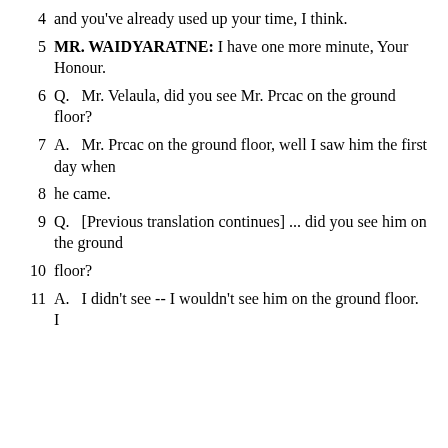4    and you've already used up your time, I think.
5        MR. WAIDYARATNE:  I have one more minute, Your Honour.
6        Q.   Mr. Velaula, did you see Mr. Prcac on the ground floor?
7        A.   Mr. Prcac on the ground floor, well I saw him the first day when
8    he came.
9        Q.   [Previous translation continues] ... did you see him on the ground
10    floor?
11        A.   I didn't see -- I wouldn't see him on the ground floor.  I